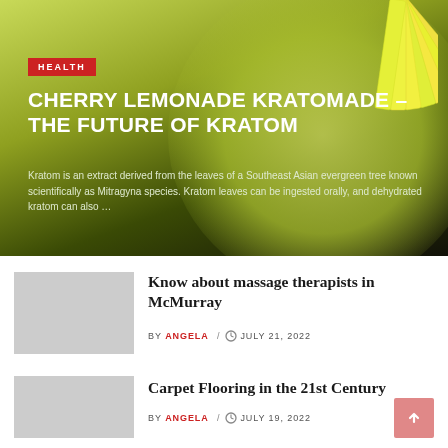[Figure (photo): Hero image of Kratom products (Kratomade sachets fanned out) on a green/dark gradient background]
HEALTH
CHERRY LEMONADE KRATOMADE – THE FUTURE OF KRATOM
Kratom is an extract derived from the leaves of a Southeast Asian evergreen tree known scientifically as Mitragyna species. Kratom leaves can be ingested orally, and dehydrated kratom can also …
Know about massage therapists in McMurray
BY ANGELA / JULY 21, 2022
Carpet Flooring in the 21st Century
BY ANGELA / JULY 19, 2022